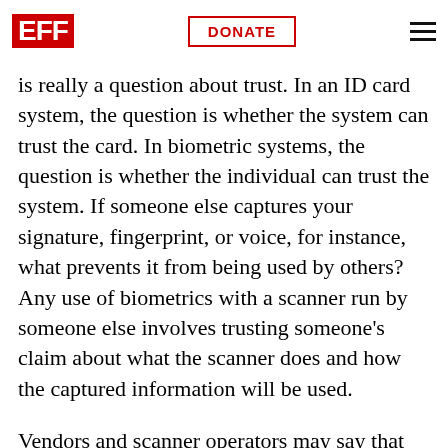EFF | DONATE
security or integrity of the token itself -- does not guarantee. biometric systems say "you are your ID." but the question of the reliability of the token
is really a question about trust. In an ID card system, the question is whether the system can trust the card. In biometric systems, the question is whether the individual can trust the system. If someone else captures your signature, fingerprint, or voice, for instance, what prevents it from being used by others? Any use of biometrics with a scanner run by someone else involves trusting someone's claim about what the scanner does and how the captured information will be used.
Vendors and scanner operators may say that they protect privacy in some way, perhaps by hashing the biometric data or designing the database to enforce a privacy policy. But the end user typically has no way to verify whether such technical